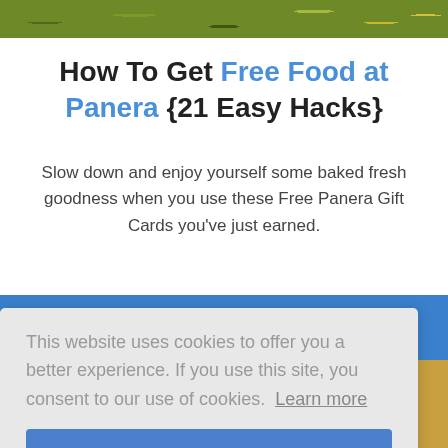[Figure (photo): Top banner image showing food/nature background with green foliage and yellow flowers]
How To Get Free Food at Panera {21 Easy Hacks}
Slow down and enjoy yourself some baked fresh goodness when you use these Free Panera Gift Cards you've just earned.
[Figure (screenshot): Cookie consent overlay popup with text and I Agree button over a blue background with Panera card image]
[Figure (photo): Bottom strip showing Panera Bread packaging and bread text]